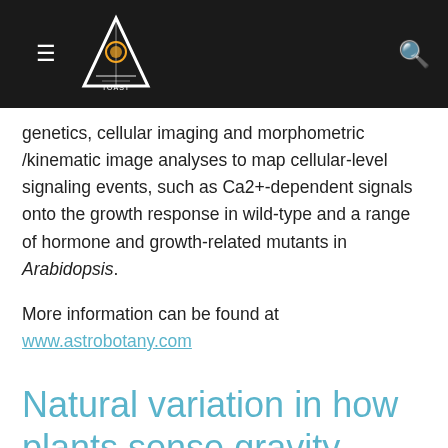[Navigation header with logo and search icon]
genetics, cellular imaging and morphometric /kinematic image analyses to map cellular-level signaling events, such as Ca2+-dependent signals onto the growth response in wild-type and a range of hormone and growth-related mutants in Arabidopsis.
More information can be found at www.astrobotany.com
Natural variation in how plants sense gravity
Arabidopsis plants live in a range of different natural environments around the world and have adapted to their local environmental factors. This tool allows you to